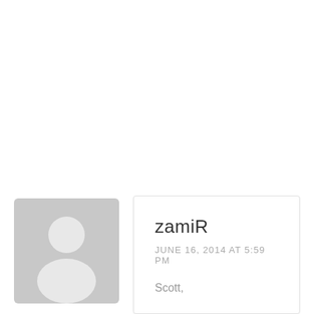[Figure (illustration): Generic user avatar placeholder: grey rounded rectangle with white silhouette of a person (head and shoulders)]
zamiR
JUNE 16, 2014 AT 5:59 PM
Scott,